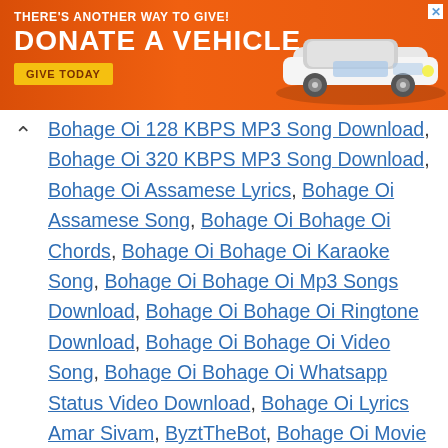[Figure (infographic): Orange advertisement banner: 'THERE'S ANOTHER WAY TO GIVE! DONATE A VEHICLE' with GIVE TODAY button and car illustration]
Bohage Oi 128 KBPS MP3 Song Download, Bohage Oi 320 KBPS MP3 Song Download, Bohage Oi Assamese Lyrics, Bohage Oi Assamese Song, Bohage Oi Bohage Oi Chords, Bohage Oi Bohage Oi Karaoke Song, Bohage Oi Bohage Oi Mp3 Songs Download, Bohage Oi Bohage Oi Ringtone Download, Bohage Oi Bohage Oi Video Song, Bohage Oi Bohage Oi Whatsapp Status Video Download, Bohage Oi Lyrics Amar Sivam, ByztTheBot, Bohage Oi Movie Songs Download, Bohage Oi Movie Trailer, Bohage Oi Moviename, Bohage Oi MP3 Song Download, Bohage Oi